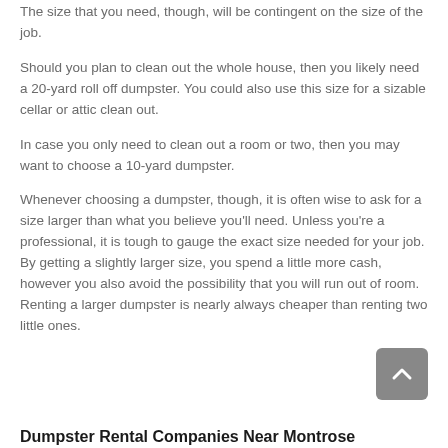The size that you need, though, will be contingent on the size of the job.
Should you plan to clean out the whole house, then you likely need a 20-yard roll off dumpster. You could also use this size for a sizable cellar or attic clean out.
In case you only need to clean out a room or two, then you may want to choose a 10-yard dumpster.
Whenever choosing a dumpster, though, it is often wise to ask for a size larger than what you believe you'll need. Unless you're a professional, it is tough to gauge the exact size needed for your job. By getting a slightly larger size, you spend a little more cash, however you also avoid the possibility that you will run out of room. Renting a larger dumpster is nearly always cheaper than renting two little ones.
Dumpster Rental Companies Near Montrose